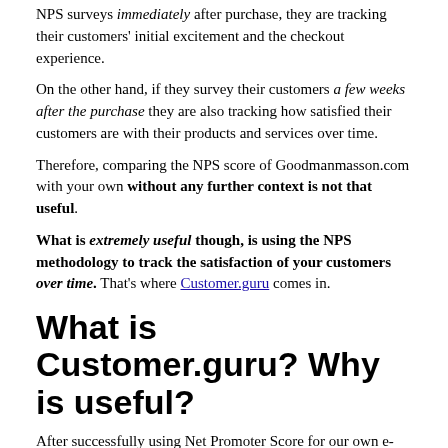NPS surveys immediately after purchase, they are tracking their customers' initial excitement and the checkout experience.
On the other hand, if they survey their customers a few weeks after the purchase they are also tracking how satisfied their customers are with their products and services over time.
Therefore, comparing the NPS score of Goodmanmasson.com with your own without any further context is not that useful.
What is extremely useful though, is using the NPS methodology to track the satisfaction of your customers over time. That's where Customer.guru comes in.
What is Customer.guru? Why is useful?
After successfully using Net Promoter Score for our own e-commerce projects, we have decided to let anyone benefit from what we've learned.